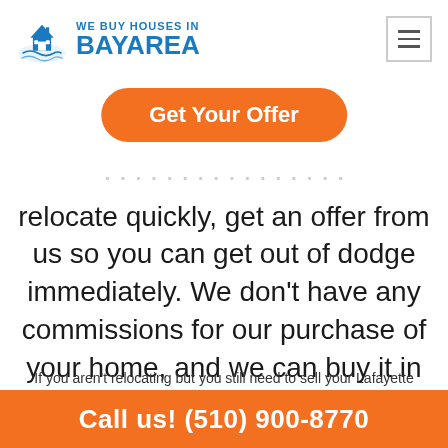[Figure (logo): We Buy Houses in Bay Area logo with house icon and blue text]
Get Your Offer
relocate quickly, get an offer from us so you can get out of dodge immediately. We don't have any commissions for our purchase of your home, and we can buy it in any condition.
If you aren't relocating but you still need to sell your Lafayette home, we can buy it even if:
Call us! (510) 900-8770